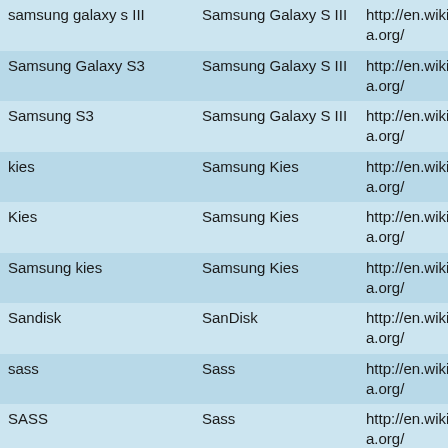| Query | Canonical | URL |
| --- | --- | --- |
| samsung galaxy s III | Samsung Galaxy S III | http://en.wikipedia.org/ |
| Samsung Galaxy S3 | Samsung Galaxy S III | http://en.wikipedia.org/ |
| Samsung S3 | Samsung Galaxy S III | http://en.wikipedia.org/ |
| kies | Samsung Kies | http://en.wikipedia.org/ |
| Kies | Samsung Kies | http://en.wikipedia.org/ |
| Samsung kies | Samsung Kies | http://en.wikipedia.org/ |
| Sandisk | SanDisk | http://en.wikipedia.org/ |
| sass | Sass | http://en.wikipedia.org/ |
| SASS | Sass | http://en.wikipedia.org/ |
| sata | SATA | http://en.wikipedia.org/ |
| Sata | SATA | http://en.wikipedia.org/ |
| sax | SAX | http://en.wikipedia.org/ |
| sbt | SBT | http://en.wikipedia.org/ |
| scala | Scala | http://en.wikipedia.org/ |
| SCALA | Scala | http://en.wikipedia.org/ |
| scart | SCART | http://en.wikipedia.org/ |
| Scart | SCART | http://en.wikipedia.org/ |
| scheme | Scheme | http://en.wikipedia.org/ |
| SCHEME | Scheme | http://en.wikipedia.org/ |